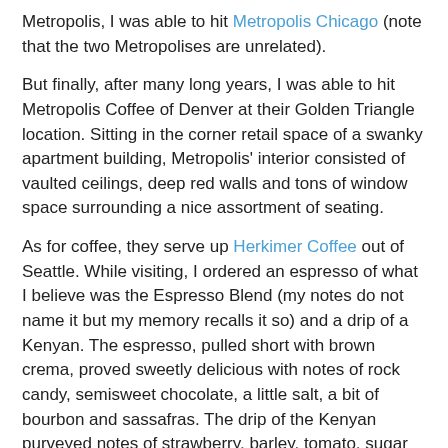Metropolis, I was able to hit Metropolis Chicago (note that the two Metropolises are unrelated).
But finally, after many long years, I was able to hit Metropolis Coffee of Denver at their Golden Triangle location. Sitting in the corner retail space of a swanky apartment building, Metropolis' interior consisted of vaulted ceilings, deep red walls and tons of window space surrounding a nice assortment of seating.
As for coffee, they serve up Herkimer Coffee out of Seattle. While visiting, I ordered an espresso of what I believe was the Espresso Blend (my notes do not name it but my memory recalls it so) and a drip of a Kenyan. The espresso, pulled short with brown crema, proved sweetly delicious with notes of rock candy, semisweet chocolate, a little salt, a bit of bourbon and sassafras. The drip of the Kenyan purveyed notes of strawberry, barley, tomato, sugar cookie and a little parsley, a coffee proving light and succulent.
While I am not a fan of waiting, Metropolis Coffee of Denver was well worth it. If you're in town, make sure to stop by this